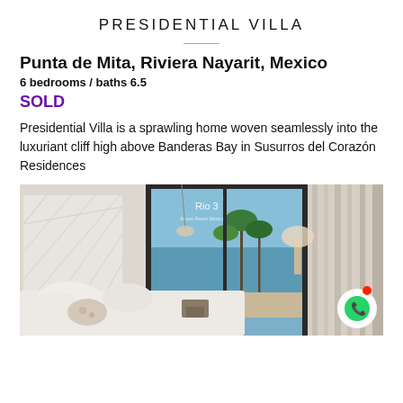PRESIDENTIAL VILLA
Punta de Mita, Riviera Nayarit, Mexico
6 bedrooms / baths 6.5
SOLD
Presidential Villa is a sprawling home woven seamlessly into the luxuriant cliff high above Banderas Bay in Susurros del Corazón Residences
[Figure (photo): Interior photo of a luxury villa bedroom/living area with white furnishings, a chandelier, and a view through glass doors to palm trees and blue ocean. 'Rio 3' text and hotel branding visible on glass.]